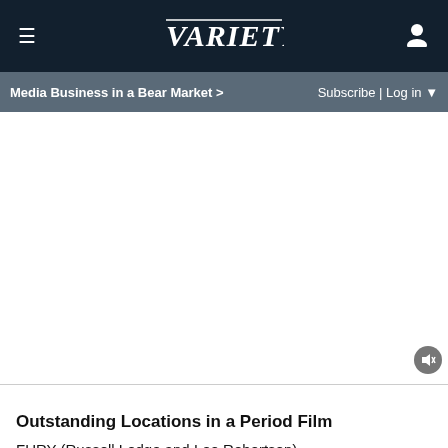≡  VARIETY  👤
Media Business in a Bear Market >   Subscribe | Log in ▼
[Figure (other): Advertisement/blank content area with mute button]
Outstanding Locations in a Period Film
FURY (Russell Lodge and Lee Robertson)
INHERENT VICE (Larry Ring and Scott Fitzgerald)